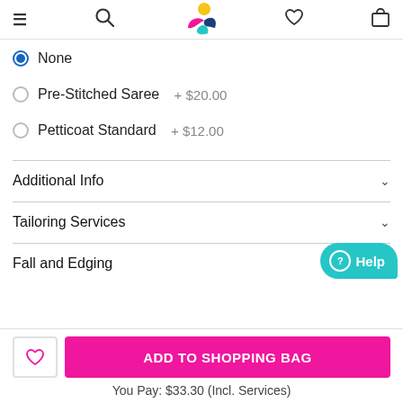[Figure (screenshot): E-commerce app top navigation bar with hamburger menu, search icon, logo, heart/wishlist icon, and shopping bag icon]
None (selected)
Pre-Stitched Saree  + $20.00
Petticoat Standard  + $12.00
Additional Info
Tailoring Services
Fall and Edging
ADD TO SHOPPING BAG
You Pay: $33.30 (Incl. Services)